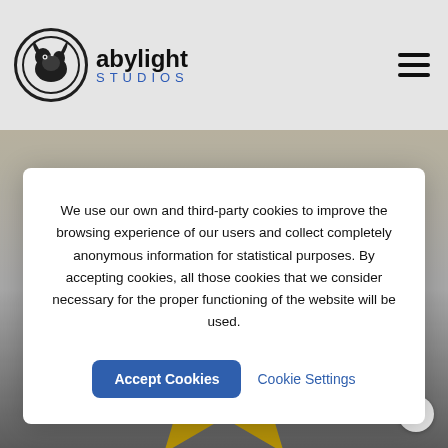[Figure (logo): Abylight Studios logo with circular icon and text 'abylight STUDIOS']
We use our own and third-party cookies to improve the browsing experience of our users and collect completely anonymous information for statistical purposes. By accepting cookies, all those cookies that we consider necessary for the proper functioning of the website will be used.
[Figure (screenshot): Cookie consent dialog with Accept Cookies button and Cookie Settings link over a website background showing a star shape image]